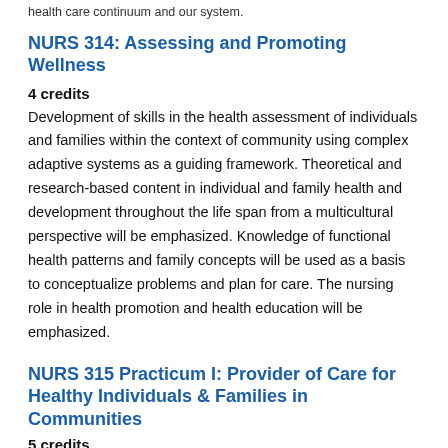health care continuum and our system.
NURS 314: Assessing and Promoting Wellness
4 credits
Development of skills in the health assessment of individuals and families within the context of community using complex adaptive systems as a guiding framework. Theoretical and research-based content in individual and family health and development throughout the life span from a multicultural perspective will be emphasized. Knowledge of functional health patterns and family concepts will be used as a basis to conceptualize problems and plan for care. The nursing role in health promotion and health education will be emphasized.
NURS 315 Practicum I: Provider of Care for Healthy Individuals & Families in Communities
5 credits